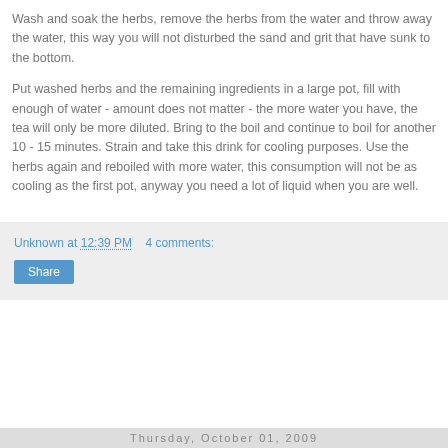Wash and soak the herbs, remove the herbs from the water and throw away the water, this way you will not disturbed the sand and grit that have sunk to the bottom.
Put washed herbs and the remaining ingredients in a large pot, fill with enough of water - amount does not matter - the more water you have, the tea will only be more diluted. Bring to the boil and continue to boil for another 10 - 15 minutes. Strain and take this drink for cooling purposes. Use the herbs again and reboiled with more water, this consumption will not be as cooling as the first pot, anyway you need a lot of liquid when you are well.
Unknown at 12:39 PM    4 comments:
Thursday, October 01, 2009